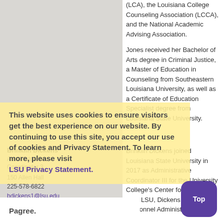[Figure (photo): Gray placeholder image area for a staff member photo]
(LCA), the Louisiana College Counseling Association (LCCA), and the National Academic Advising Association.
Jones received her Bachelor of Arts degree in Criminal Justice, a Master of Education in Counseling from Southeastern Louisiana University, as well as a Certificate of Education Specialist degree from Louisiana State University.
Brinklin Dickens
Administrative Coordinator 3
150 Allen Hall
225-578-6822
bdickens1@lsu.edu
Brinklin Dickens joined Louisiana State University in 2017 as Administrative Coordinator III for the University College's Center for Freshman Year LSU, Dickens served Personnel Administration
This website uses cookies to ensure visitors get the best experience on our website. By continuing to use this site, you accept our use of cookies and Privacy Statement. To learn more, please visit LSU Privacy Statement.
Pagree.